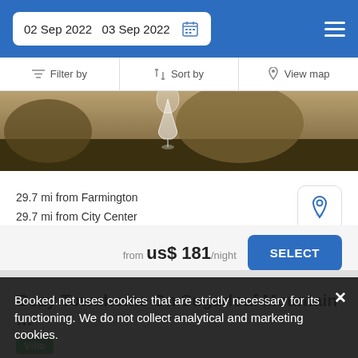02 Sep 2022  03 Sep 2022
Filter by   Sort by   View map
[Figure (photo): Outdoor scene with a wine glass on a surface, dirt ground, trees in background]
29.7 mi from Farmington
29.7 mi from City Center
from us$ 181/night  SELECT
Cozy Townhome On Sugarloaf Mountain …
Villa
Booked.net uses cookies that are strictly necessary for its functioning. We do not collect analytical and marketing cookies.